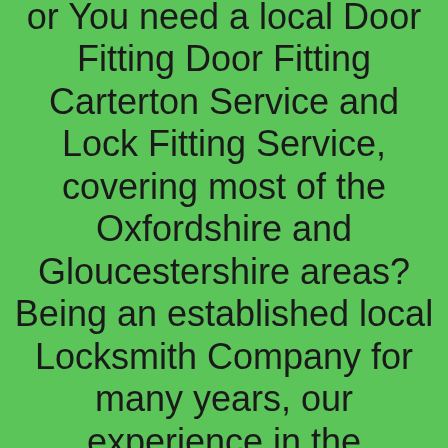or You need a local Door Fitting Door Fitting Carterton Service and Lock Fitting Service, covering most of the Oxfordshire and Gloucestershire areas? Being an established local Locksmith Company for many years, our experience in the door fitting market, can be a big benefit to YOU our